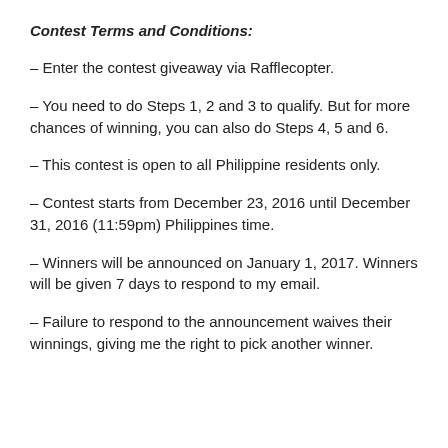Contest Terms and Conditions:
– Enter the contest giveaway via Rafflecopter.
– You need to do Steps 1, 2 and 3 to qualify. But for more chances of winning, you can also do Steps 4, 5 and 6.
– This contest is open to all Philippine residents only.
– Contest starts from December 23, 2016 until December 31, 2016 (11:59pm) Philippines time.
– Winners will be announced on January 1, 2017. Winners will be given 7 days to respond to my email.
– Failure to respond to the announcement waives their winnings, giving me the right to pick another winner.